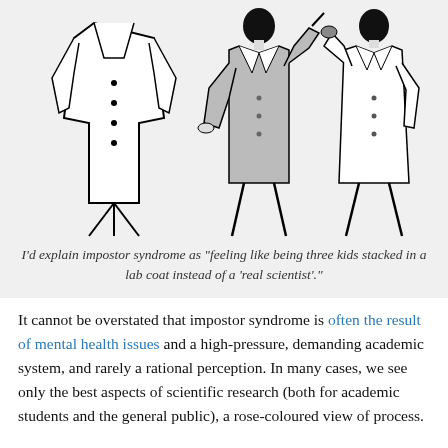[Figure (illustration): Three cartoon figures wearing lab coats. Left: a lab coat hanging on a stand (empty/inanimate). Center: a person in a gray lab coat, hand on hip, holding a pencil/pen. Right: a person in a white lab coat with dark hair, hand raised to face.]
I'd explain impostor syndrome as "feeling like being three kids stacked in a lab coat instead of a 'real scientist'."
It cannot be overstated that impostor syndrome is often the result of mental health issues and a high-pressure, demanding academic system, and rarely a rational perception. In many cases, we see only the best aspects of scientific research (both for academic students and the general public), a rose-coloured view of process.